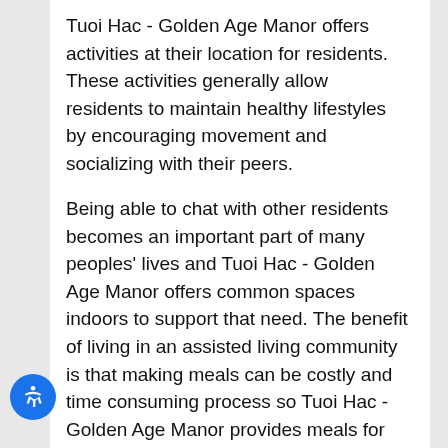Tuoi Hac - Golden Age Manor offers activities at their location for residents. These activities generally allow residents to maintain healthy lifestyles by encouraging movement and socializing with their peers.
Being able to chat with other residents becomes an important part of many peoples' lives and Tuoi Hac - Golden Age Manor offers common spaces indoors to support that need. The benefit of living in an assisted living community is that making meals can be costly and time consuming process so Tuoi Hac - Golden Age Manor provides meals for residents.
Staff is awake and available 24 hours a